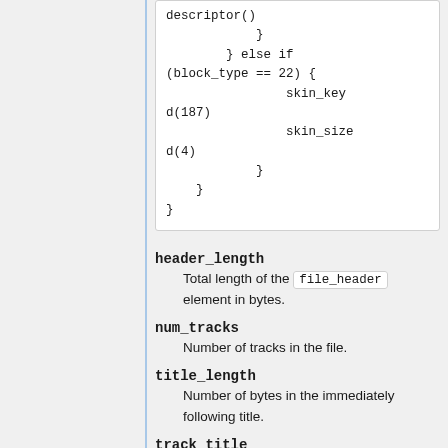descriptor()
            }
        } else if (block_type == 22) {
                skin_key d(187)
                skin_size d(4)
            }
    }
}
header_length
Total length of the file_header element in bytes.
num_tracks
Number of tracks in the file.
title_length
Number of bytes in the immediately following title.
track_title
Title of track in...